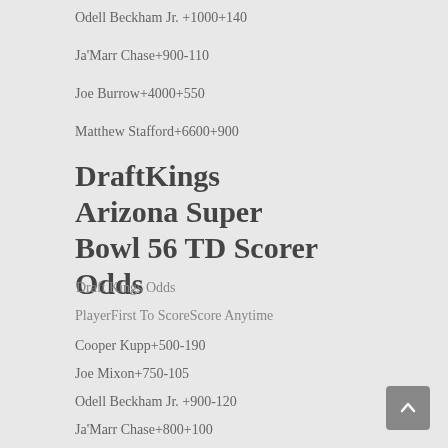Odell Beckham Jr. +1000+140
Ja'Marr Chase+900-110
Joe Burrow+4000+550
Matthew Stafford+6600+900
DraftKings Arizona Super Bowl 56 TD Scorer Odds
Draft Kings Odds
PlayerFirst To ScoreScore Anytime
Cooper Kupp+500-190
Joe Mixon+750-105
Odell Beckham Jr. +900-120
Ja'Marr Chase+800+100
Joe Burrow+3000+500